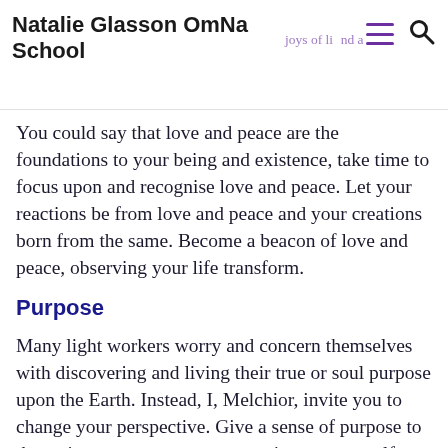Natalie Glasson OmNa School
and guided in every step of your life. Thus, you ... joys of life and a deeper connection with those around you.
You could say that love and peace are the foundations to your being and existence, take time to focus upon and recognise love and peace. Let your reactions be from love and peace and your creations born from the same. Become a beacon of love and peace, observing your life transform.
Purpose
Many light workers worry and concern themselves with discovering and living their true or soul purpose upon the Earth. Instead, I, Melchior, invite you to change your perspective. Give a sense of purpose to the actions you create, your reactions to yourself